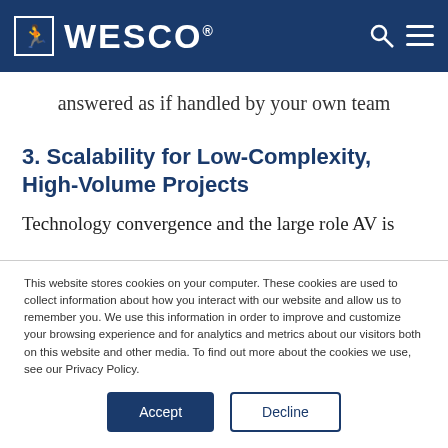WESCO
answered as if handled by your own team
3. Scalability for Low-Complexity, High-Volume Projects
Technology convergence and the large role AV is
This website stores cookies on your computer. These cookies are used to collect information about how you interact with our website and allow us to remember you. We use this information in order to improve and customize your browsing experience and for analytics and metrics about our visitors both on this website and other media. To find out more about the cookies we use, see our Privacy Policy.
Accept | Decline